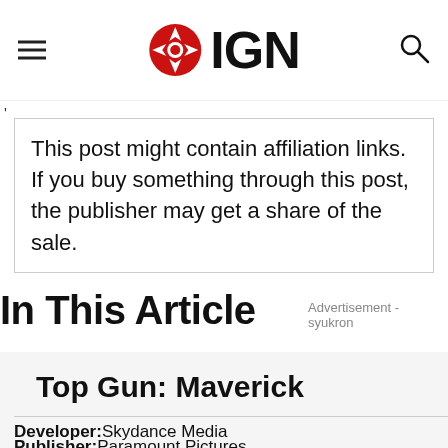IGN
'
This post might contain affiliation links. If you buy something through this post, the publisher may get a share of the sale.
In This Article
Advertisement - syukron
Top Gun: Maverick
Developer: Skydance Media
Publisher: Paramount Pictures